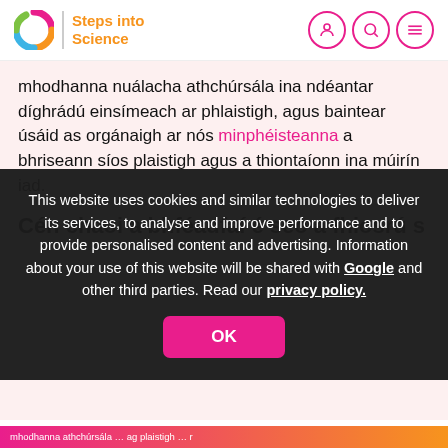Steps into Science
mhodhanna nuálacha athchúrsála ina ndéantar díghrádú einsímeach ar phlaistigh, agus baintear úsáid as orgánaigh ar nós minphéisteanna a bhriseann síos plaistigh agus a thiontaíonn ina múirín iad.
Cén chaoi a bhféadfaí é seo a fhiosrú s...
This website uses cookies and similar technologies to deliver its services, to analyse and improve performance and to provide personalised content and advertising. Information about your use of this website will be shared with Google and other third parties. Read our privacy policy.